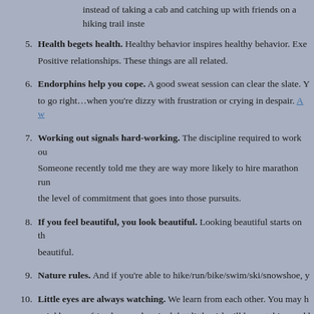instead of taking a cab and catching up with friends on a hiking trail inste
5. Health begets health. Healthy behavior inspires healthy behavior. Exe Positive relationships. These things are all related.
6. Endorphins help you cope. A good sweat session can clear the slate. Y to go right…when you’re dizzy with frustration or crying in despair. A w
7. Working out signals hard-working. The discipline required to work ou Someone recently told me they are way more likely to hire marathon run the level of commitment that goes into those pursuits.
8. If you feel beautiful, you look beautiful. Looking beautiful starts on th beautiful.
9. Nature rules. And if you’re able to hike/run/bike/swim/ski/snowshoe, y
10. Little eyes are always watching. We learn from each other. You may h neighbor or a friend – one day. And that little girl will be watching and l do. What messages do you want her to hear?
I’ll never talk to my daughter about fitting into THAT DRESS. But I will talk t pine needles crunching under my feet and what it feels like to cross a finish li